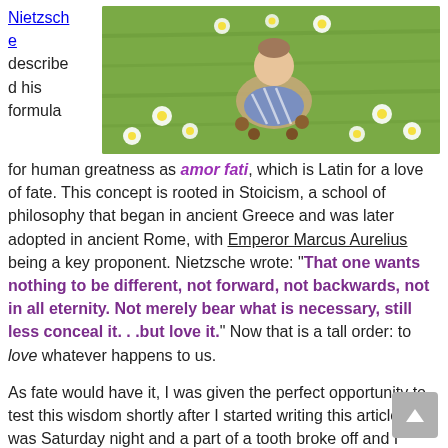Nietzsche described his formula
[Figure (photo): A small figurine or gnome lying on grass surrounded by white daisy flowers]
for human greatness as amor fati, which is Latin for a love of fate. This concept is rooted in Stoicism, a school of philosophy that began in ancient Greece and was later adopted in ancient Rome, with Emperor Marcus Aurelius being a key proponent. Nietzsche wrote: “That one wants nothing to be different, not forward, not backwards, not in all eternity. Not merely bear what is necessary, still less conceal it. . .but love it.” Now that is a tall order: to love whatever happens to us.
As fate would have it, I was given the perfect opportunity to test this wisdom shortly after I started writing this article. It was Saturday night and a part of a tooth broke off and I swallowed it! I became incredibly anxious. I recalled that during my last visit the dentist said that old fillings were breaking in that quadrant of my mouth and that I needed